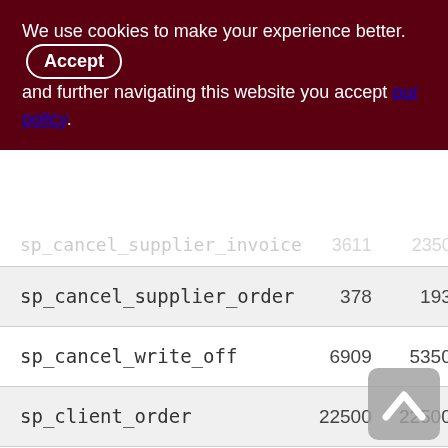We use cookies to make your experience better. By accepting and further navigating this website you accept our policy.
|  |  |  |
| --- | --- | --- |
| sp_cancel_supplier_invoice | 3611 | 2350 |
| sp_cancel_supplier_order | 378 | 193 |
| sp_cancel_write_off | 6909 | 5350 |
| sp_client_order | 22500 | 22500 |
| sp_customer_reserve | 619220 | 619220 |
| sp_fill_shopping_cart | 34006 | 34006 |